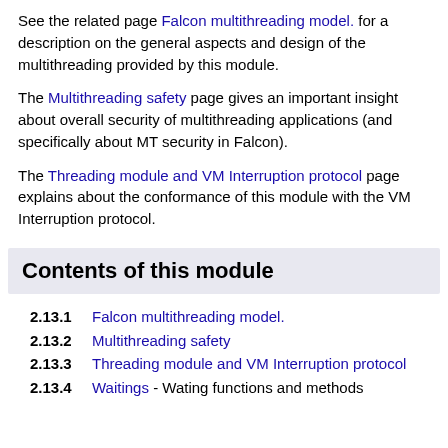See the related page Falcon multithreading model. for a description on the general aspects and design of the multithreading provided by this module.
The Multithreading safety page gives an important insight about overall security of multithreading applications (and specifically about MT security in Falcon).
The Threading module and VM Interruption protocol page explains about the conformance of this module with the VM Interruption protocol.
Contents of this module
2.13.1  Falcon multithreading model.
2.13.2  Multithreading safety
2.13.3  Threading module and VM Interruption protocol
2.13.4  Waitings - Wating functions and methods